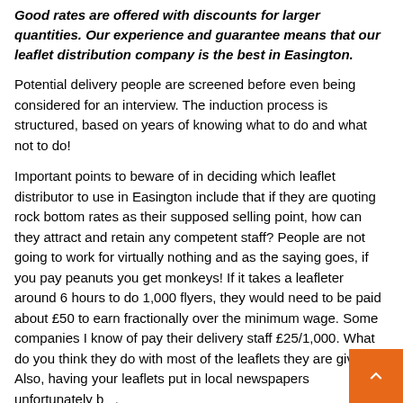Good rates are offered with discounts for larger quantities. Our experience and guarantee means that our leaflet distribution company is the best in Easington.
Potential delivery people are screened before even being considered for an interview. The induction process is structured, based on years of knowing what to do and what not to do!
Important points to beware of in deciding which leaflet distributor to use in Easington include that if they are quoting rock bottom rates as their supposed selling point, how can they attract and retain any competent staff? People are not going to work for virtually nothing and as the saying goes, if you pay peanuts you get monkeys! If it takes a leafleter around 6 hours to do 1,000 flyers, they would need to be paid about £50 to earn fractionally over the minimum wage. Some companies I know of pay their delivery staff £25/1,000. What do you think they do with most of the leaflets they are given?! Also, having your leaflets put in local newspapers unfortunately b... very poor rate of return, as they accept too many leaflets an...